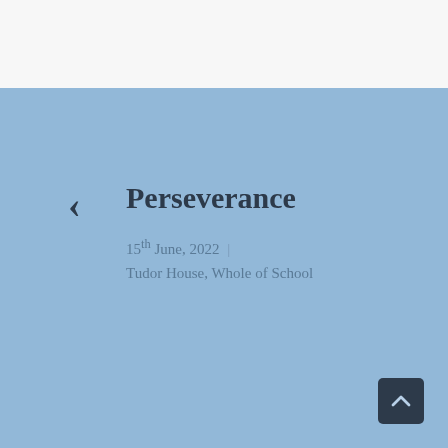Perseverance
15th June, 2022 | Tudor House, Whole of School